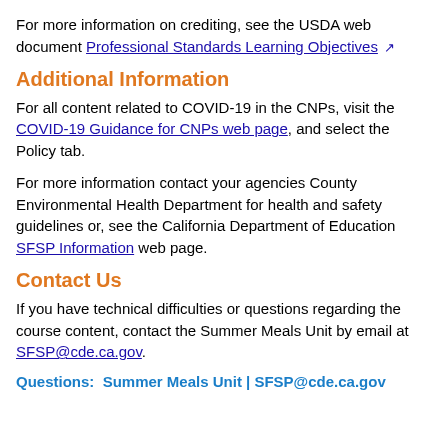For more information on crediting, see the USDA web document Professional Standards Learning Objectives [external link]
Additional Information
For all content related to COVID-19 in the CNPs, visit the COVID-19 Guidance for CNPs web page, and select the Policy tab.
For more information contact your agencies County Environmental Health Department for health and safety guidelines or, see the California Department of Education SFSP Information web page.
Contact Us
If you have technical difficulties or questions regarding the course content, contact the Summer Meals Unit by email at SFSP@cde.ca.gov.
Questions:  Summer Meals Unit | SFSP@cde.ca.gov